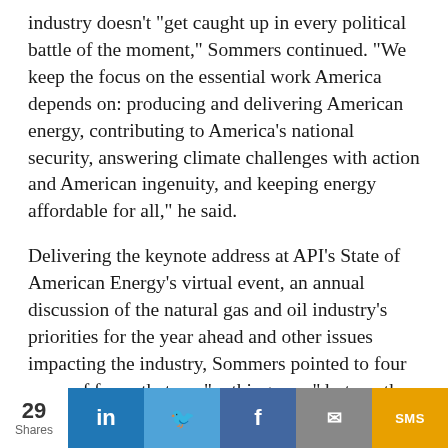industry doesn't "get caught up in every political battle of the moment," Sommers continued. "We keep the focus on the essential work America depends on: producing and delivering American energy, contributing to America's national security, answering climate challenges with action and American ingenuity, and keeping energy affordable for all," he said.
Delivering the keynote address at API's State of American Energy's virtual event, an annual discussion of the natural gas and oil industry's priorities for the year ahead and other issues impacting the industry, Sommers pointed to four areas of focus that are "nothing new," but are the basis of the approach API will take in working with President Joe Biden and his administration.